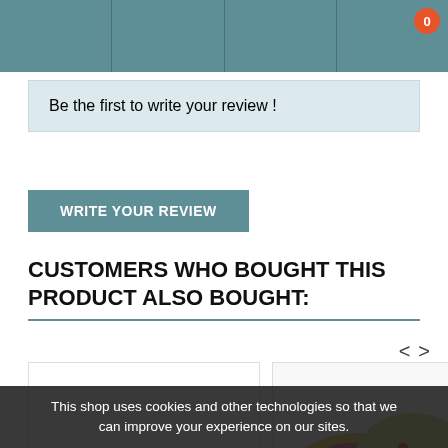Navigation bar with cart badge showing 0
Be the first to write your review !
WRITE YOUR REVIEW
CUSTOMERS WHO BOUGHT THIS PRODUCT ALSO BOUGHT:
[Figure (photo): Two colorful fabric wallets with pink interior displayed side by side]
This shop uses cookies and other technologies so that we can improve your experience on our sites.